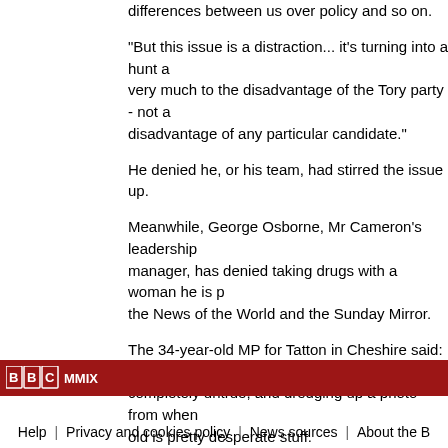differences between us over policy and so on.
"But this issue is a distraction... it's turning into a hunt a very much to the disadvantage of the Tory party - not a disadvantage of any particular candidate."
He denied he, or his team, had stirred the issue up.
Meanwhile, George Osborne, Mr Cameron's leadership manager, has denied taking drugs with a woman he is p the News of the World and the Sunday Mirror.
The 34-year-old MP for Tatton in Cheshire said: "The a completely untrue, and dredging up a photo from when old is pretty desperate stuff.
"This is merely part of an absurd smear campaign to di from the issues that matter in this leadership contest, a that people will not be distracted by this rubbish."
E-mail this to a friend   Printable version
PRODUCTS AND SERVICES
E-mail news   Mobiles   Alerts   News feeds   Podc
© BBC MMIX
Help  |  Privacy and cookies policy  |  News sources  |  About the B